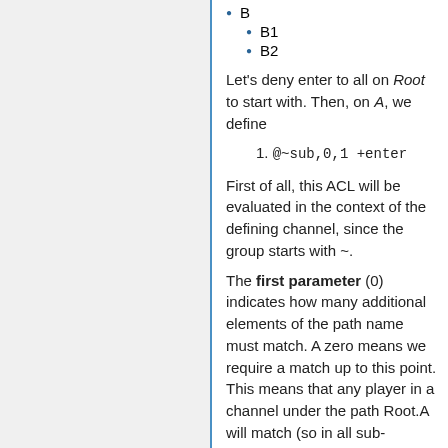B
B1
B2
Let's deny enter to all on Root to start with. Then, on A, we define
1. @~sub,0,1 +enter
First of all, this ACL will be evaluated in the context of the defining channel, since the group starts with ~.
The first parameter (0) indicates how many additional elements of the path name must match. A zero means we require a match up to this point. This means that any player in a channel under the path Root.A will match (so in all sub-channels).